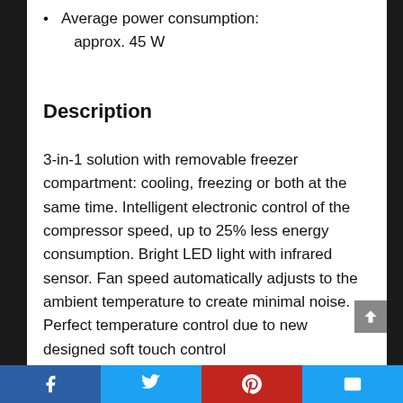Average power consumption: approx. 45 W
Description
3-in-1 solution with removable freezer compartment: cooling, freezing or both at the same time. Intelligent electronic control of the compressor speed, up to 25% less energy consumption. Bright LED light with infrared sensor. Fan speed automatically adjusts to the ambient temperature to create minimal noise. Perfect temperature control due to new designed soft touch control